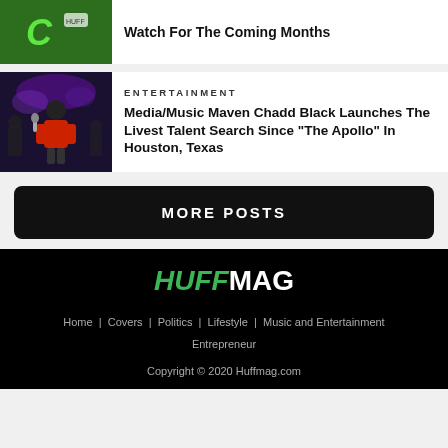[Figure (photo): Green background image with partial logo/text visible at top left card]
Watch For The Coming Months
[Figure (photo): Man in red jacket performing on stage with microphone, dark background with purple lights]
ENTERTAINMENT
Media/Music Maven Chadd Black Launches The Livest Talent Search Since “The Apollo” In Houston, Texas
MORE POSTS
[Figure (logo): HUFFMAG logo with HUFF in green italic and MAG in white bold]
Home | Covers | Politics | Lifestyle | Music and Entertainment | Entrepreneur
Copyright © 2020 Huffmag.com